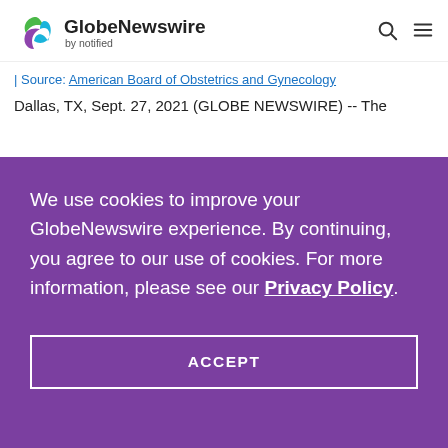GlobeNewswire by notified
| Source: American Board of Obstetrics and Gynecology
Dallas, TX, Sept. 27, 2021 (GLOBE NEWSWIRE) -- The
We use cookies to improve your GlobeNewswire experience. By continuing, you agree to our use of cookies. For more information, please see our Privacy Policy.
ACCEPT